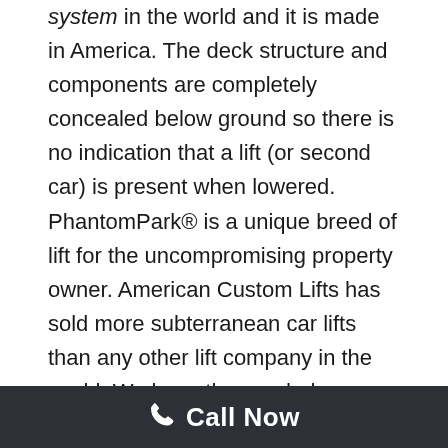innovative 2-deck subterranean parking system in the world and it is made in America. The deck structure and components are completely concealed below ground so there is no indication that a lift (or second car) is present when lowered. PhantomPark® is a unique breed of lift for the uncompromising property owner. American Custom Lifts has sold more subterranean car lifts than any other lift company in the world. We have the needed expertise to make sure your project
Call Now